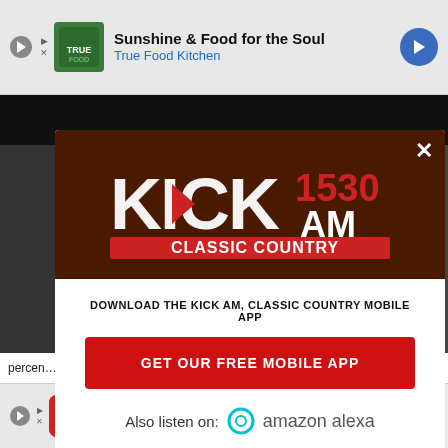[Figure (screenshot): Top banner advertisement for True Food Kitchen showing 'Sunshine & Food for the Soul' with navigation arrow icon]
[Figure (logo): KICK 1530 AM Classic Country radio station logo on dark brown background]
DOWNLOAD THE KICK AM, CLASSIC COUNTRY MOBILE APP
GET OUR FREE MOBILE APP
Also listen on: amazon alexa
percen... ter, accor... wake
[Figure (screenshot): Bottom banner advertisement for Circle K Store Finder with navigation arrow icon]